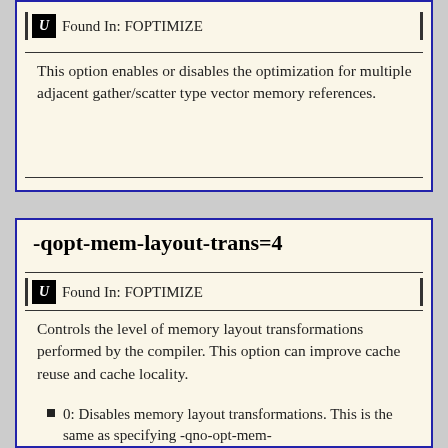Found In: FOPTIMIZE
This option enables or disables the optimization for multiple adjacent gather/scatter type vector memory references.
-qopt-mem-layout-trans=4
Found In: FOPTIMIZE
Controls the level of memory layout transformations performed by the compiler. This option can improve cache reuse and cache locality.
0: Disables memory layout transformations. This is the same as specifying -qno-opt-mem...